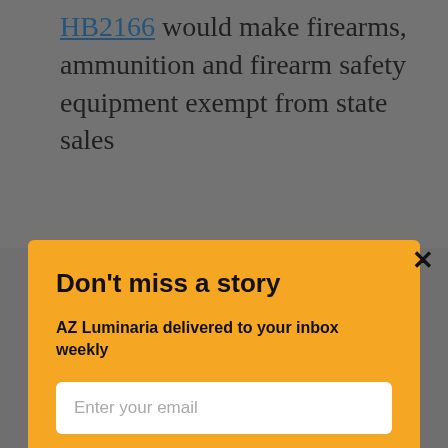HB2166 would make firearms, ammunition and firearm safety equipment exempt from state sales
Don't miss a story
AZ Luminaria delivered to your inbox weekly
Enter your email
Subscribe